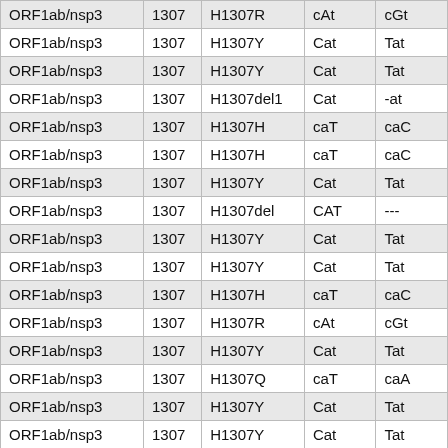| ORF1ab/nsp3 | 1307 | H1307R | cAt | cGt |
| ORF1ab/nsp3 | 1307 | H1307Y | Cat | Tat |
| ORF1ab/nsp3 | 1307 | H1307Y | Cat | Tat |
| ORF1ab/nsp3 | 1307 | H1307del1 | Cat | -at |
| ORF1ab/nsp3 | 1307 | H1307H | caT | caC |
| ORF1ab/nsp3 | 1307 | H1307H | caT | caC |
| ORF1ab/nsp3 | 1307 | H1307Y | Cat | Tat |
| ORF1ab/nsp3 | 1307 | H1307del | CAT | --- |
| ORF1ab/nsp3 | 1307 | H1307Y | Cat | Tat |
| ORF1ab/nsp3 | 1307 | H1307Y | Cat | Tat |
| ORF1ab/nsp3 | 1307 | H1307H | caT | caC |
| ORF1ab/nsp3 | 1307 | H1307R | cAt | cGt |
| ORF1ab/nsp3 | 1307 | H1307Y | Cat | Tat |
| ORF1ab/nsp3 | 1307 | H1307Q | caT | caA |
| ORF1ab/nsp3 | 1307 | H1307Y | Cat | Tat |
| ORF1ab/nsp3 | 1307 | H1307Y | Cat | Tat |
| ORF1ab/nsp3 | 1307 | H1307Y | Cat | Tat |